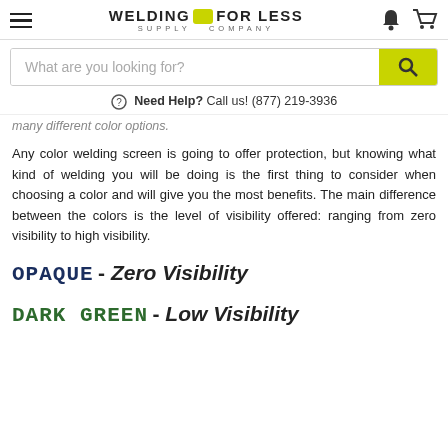WELDING FOR LESS SUPPLY COMPANY
What are you looking for?
Need Help? Call us! (877) 219-3936
many different color options.
Any color welding screen is going to offer protection, but knowing what kind of welding you will be doing is the first thing to consider when choosing a color and will give you the most benefits. The main difference between the colors is the level of visibility offered: ranging from zero visibility to high visibility.
OPAQUE - Zero Visibility
DARK GREEN - Low Visibility